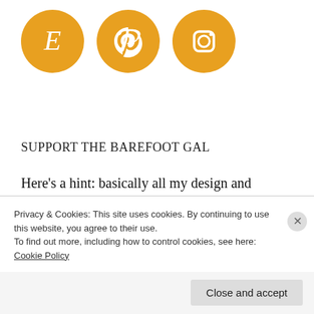[Figure (logo): Three social media icons on golden/amber circular backgrounds: Etsy (E), Pinterest (P), and Instagram (camera) icons in white]
SUPPORT THE BAREFOOT GAL
Here’s a hint: basically all my design and editing is done through PicMonkey, a wonderful online design and editing tool. It supplies you with lots of graphics, filters, and basic tools all laid out in a simple, easy-to-use format. It’s pretty much the only online subscription I’m willing to pay for, if that
Privacy & Cookies: This site uses cookies. By continuing to use this website, you agree to their use.
To find out more, including how to control cookies, see here: Cookie Policy